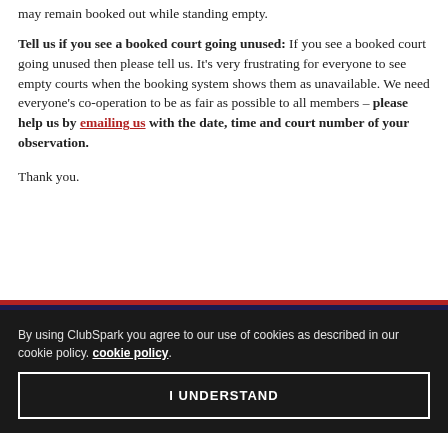may remain booked out while standing empty.
Tell us if you see a booked court going unused: If you see a booked court going unused then please tell us. It’s very frustrating for everyone to see empty courts when the booking system shows them as unavailable. We need everyone’s co-operation to be as fair as possible to all members – please help us by emailing us with the date, time and court number of your observation.
Thank you.
By using ClubSpark you agree to our use of cookies as described in our cookie policy. cookie policy.
I UNDERSTAND